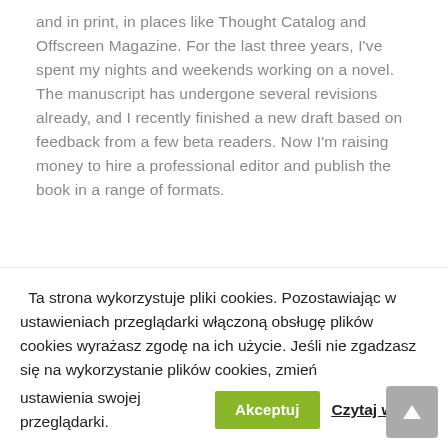and in print, in places like Thought Catalog and Offscreen Magazine. For the last three years, I've spent my nights and weekends working on a novel. The manuscript has undergone several revisions already, and I recently finished a new draft based on feedback from a few beta readers. Now I'm raising money to hire a professional editor and publish the book in a range of formats.
Related Project
Ta strona wykorzystuje pliki cookies. Pozostawiając w ustawieniach przeglądarki włączoną obsługę plików cookies wyrażasz zgodę na ich użycie. Jeśli nie zgadzasz się na wykorzystanie plików cookies, zmień ustawienia swojej przeglądarki. Akceptuj Czytaj więcej